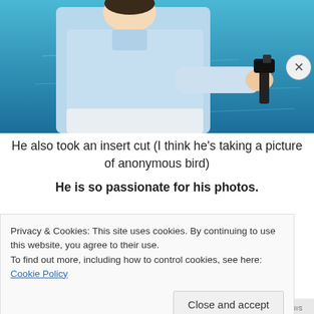[Figure (photo): A person in a light blue shirt and white pants seen from behind, holding a small camera or phone on a handle/grip, photographing the blue ocean water below from an elevated vantage point.]
He also took an insert cut (I think he's taking a picture of anonymous bird)
He is so passionate for his photos.
Privacy & Cookies: This site uses cookies. By continuing to use this website, you agree to their use.
To find out more, including how to control cookies, see here: Cookie Policy